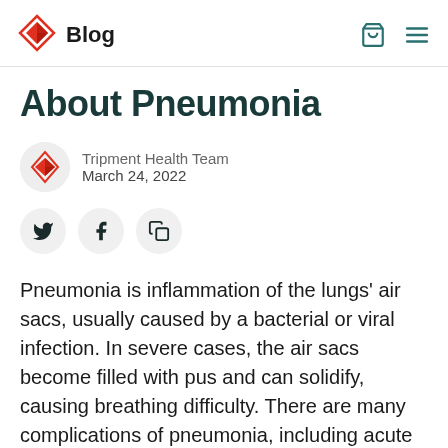Blog
About Pneumonia
Tripment Health Team
March 24, 2022
[Figure (other): Social sharing buttons: Twitter, Facebook, Copy link]
Pneumonia is inflammation of the lungs' air sacs, usually caused by a bacterial or viral infection. In severe cases, the air sacs become filled with pus and can solidify, causing breathing difficulty. There are many complications of pneumonia, including acute respiratory distress (ARDS) and even